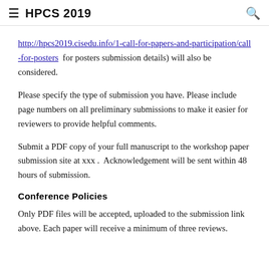HPCS 2019
http://hpcs2019.cisedu.info/1-call-for-papers-and-participation/call-for-posters  for posters submission details) will also be considered.
Please specify the type of submission you have. Please include page numbers on all preliminary submissions to make it easier for reviewers to provide helpful comments.
Submit a PDF copy of your full manuscript to the workshop paper submission site at xxx .  Acknowledgement will be sent within 48 hours of submission.
Conference Policies
Only PDF files will be accepted, uploaded to the submission link above. Each paper will receive a minimum of three reviews.